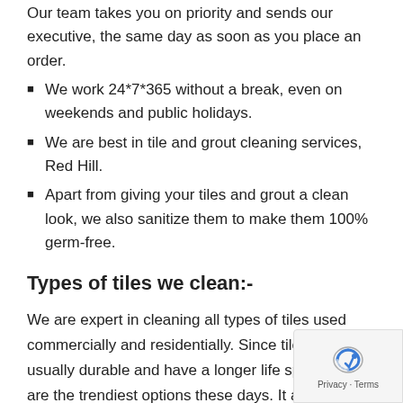Our team takes you on priority and sends our executive, the same day as soon as you place an order.
We work 24*7*365 without a break, even on weekends and public holidays.
We are best in tile and grout cleaning services, Red Hill.
Apart from giving your tiles and grout a clean look, we also sanitize them to make them 100% germ-free.
Types of tiles we clean:-
We are expert in cleaning all types of tiles used commercially and residentially. Since tiles are usually durable and have a longer life span; they are the trendiest options these days. It also serves the purpose of eco-friendly flooring option as no trees are cut in the process. Here are some of the tiles we take care of:-
Ceramic Tiles: –